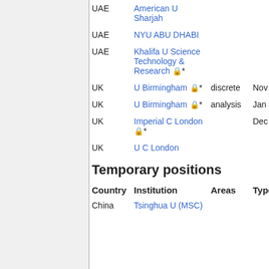| Country | Institution | Areas | Type | Date |
| --- | --- | --- | --- | --- |
| UAE | American U Sharjah |  |  |  |
| UAE | NYU ABU DHABI |  |  |  |
| UAE | Khalifa U Science Technology & Research 🔒* |  |  |  |
| UK | U Birmingham 🔒* | discrete |  | Nov 23 |
| UK | U Birmingham 🔒* | analysis |  | Jan 4 |
| UK | Imperial C London 🔒* |  |  | Dec 14 |
| UK | U C London |  |  |  |
Temporary positions
| Country | Institution | Areas | Type |
| --- | --- | --- | --- |
| China | Tsinghua U (MSC) |  |  |